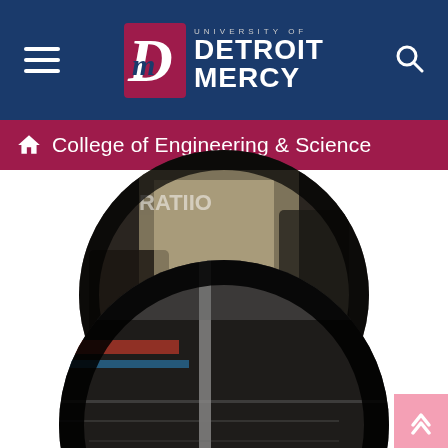University of Detroit Mercy — navigation bar with hamburger menu and search icon
College of Engineering & Science
[Figure (photo): Circular cropped photo of a student or person in a room with equipment, partially visible at the top — upper portion of circular image]
[Figure (photo): Circular cropped photo of an engineering or science lab setting with equipment; white bold italic text overlay reading '5 Year' at bottom of circle]